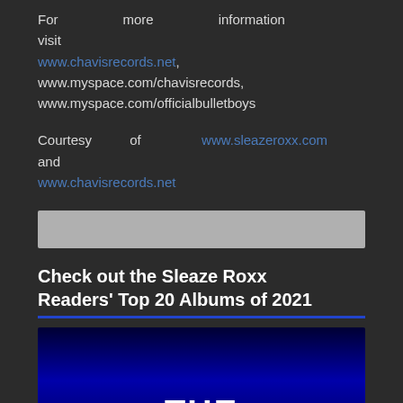For more information visit www.chavisrecords.net, www.myspace.com/chavisrecords, www.myspace.com/officialbulletboys
Courtesy of www.sleazeroxx.com and www.chavisrecords.net
[Figure (other): Gray banner/advertisement block]
Check out the Sleaze Roxx Readers' Top 20 Albums of 2021
[Figure (other): Dark blue background image with large bold white text 'THE' and partial blue neon-style text 'SLEAZE ROXX' below]